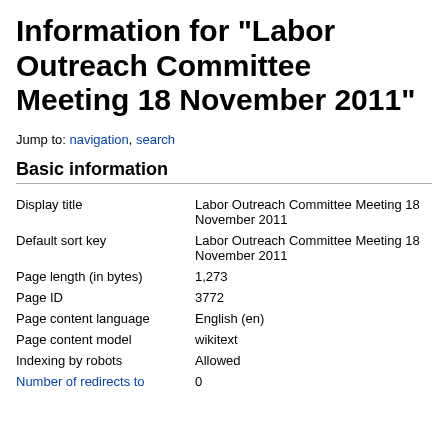Information for "Labor Outreach Committee Meeting 18 November 2011"
Jump to: navigation, search
Basic information
| Property | Value |
| --- | --- |
| Display title | Labor Outreach Committee Meeting 18 November 2011 |
| Default sort key | Labor Outreach Committee Meeting 18 November 2011 |
| Page length (in bytes) | 1,273 |
| Page ID | 3772 |
| Page content language | English (en) |
| Page content model | wikitext |
| Indexing by robots | Allowed |
| Number of redirects to this page | 0 |